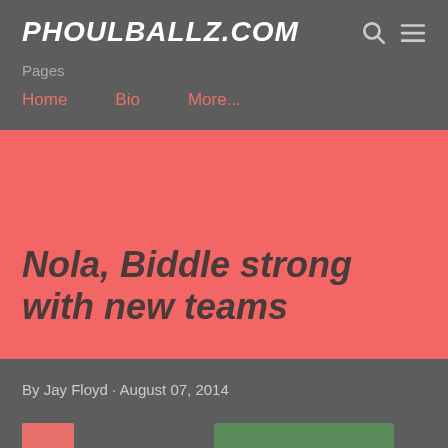PHOULBALLZ.COM
Pages
Home   Bio   More...
Nola, Biddle strong with new teams
By Jay Floyd · August 07, 2014
wo big name